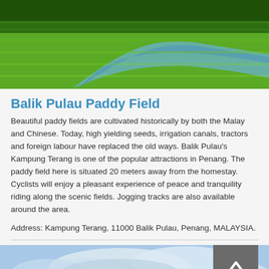[Figure (photo): Aerial view of lush green paddy fields with an irrigation canal running through them]
Balik Pulau Paddy Field
Beautiful paddy fields are cultivated historically by both the Malay and Chinese. Today, high yielding seeds, irrigation canals, tractors and foreign labour have replaced the old ways. Balik Pulau's Kampung Terang is one of the popular attractions in Penang. The paddy field here is situated 20 meters away from the homestay. Cyclists will enjoy a pleasant experience of peace and tranquility riding along the scenic fields. Jogging tracks are also available around the area.
Address: Kampung Terang, 11000 Balik Pulau, Penang, MALAYSIA.
[Figure (photo): Scenic outdoor photo with blue sky and clouds, partially visible at the bottom of the page]